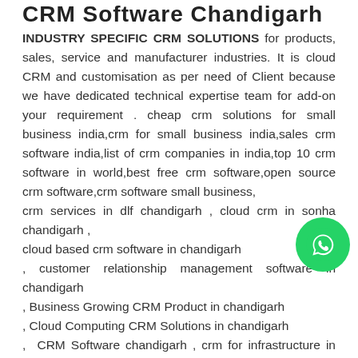CRM Software Chandigarh
INDUSTRY SPECIFIC CRM SOLUTIONS for products, sales, service and manufacturer industries. It is cloud CRM and customisation as per need of Client because we have dedicated technical expertise team for add-on your requirement . cheap crm solutions for small business india,crm for small business india,sales crm software india,list of crm companies in india,top 10 crm software in world,best free crm software,open source crm software,crm software small business,
crm services in dlf chandigarh , cloud crm in sonha chandigarh ,
cloud based crm software in chandigarh
, customer relationship management software in chandigarh
, Business Growing CRM Product in chandigarh
, Cloud Computing CRM Solutions in chandigarh
, CRM Software chandigarh , crm for infrastructure in chandigarh , crm in services marketing chandigarh
, importance of crm in service industry in chandigarh
[Figure (other): WhatsApp contact button (green circle with WhatsApp phone icon)]